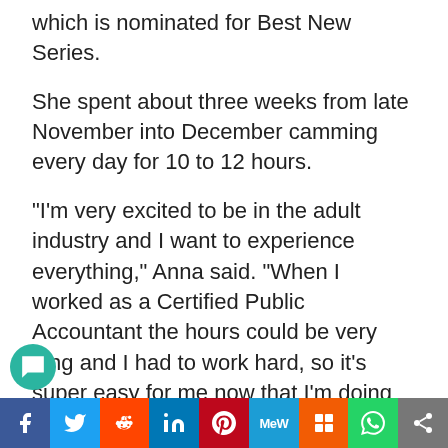which is nominated for Best New Series.
She spent about three weeks from late November into December camming every day for 10 to 12 hours.
“I’m very excited to be in the adult industry and I want to experience everything,” Anna said. “When I worked as a Certified Public Accountant the hours could be very long and I had to work hard, so it’s super easy for me now that I’m doing something I really love. What could be better than making your living as a porn star?!”
She is also in the final four for the 2015 Bang
[Figure (other): Social media share bar with buttons: Facebook, Twitter, Reddit, LinkedIn, Pinterest, MeWe, Mix, WhatsApp, Share]